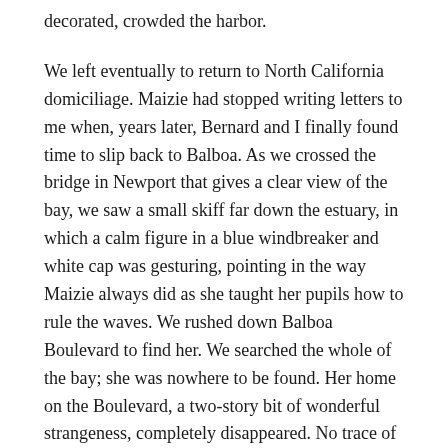decorated, crowded the harbor.
We left eventually to return to North California domiciliage. Maizie had stopped writing letters to me when, years later, Bernard and I finally found time to slip back to Balboa. As we crossed the bridge in Newport that gives a clear view of the bay, we saw a small skiff far down the estuary, in which a calm figure in a blue windbreaker and white cap was gesturing, pointing in the way Maizie always did as she taught her pupils how to rule the waves. We rushed down Balboa Boulevard to find her. We searched the whole of the bay; she was nowhere to be found. Her home on the Boulevard, a two-story bit of wonderful strangeness, completely disappeared. No trace of Maizie; no one remembered her or knew what happened to her. The woman with the sea-blue eyes, freckled face and red curly ringlets was gone.